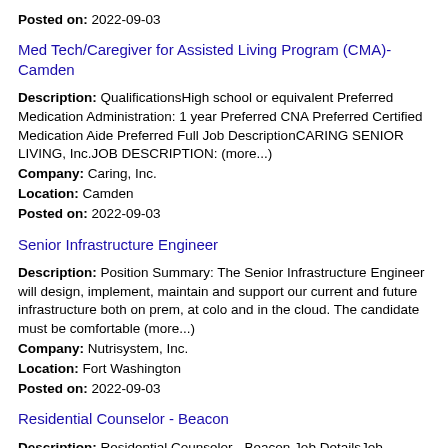Posted on: 2022-09-03
Med Tech/Caregiver for Assisted Living Program (CMA)-Camden
Description: QualificationsHigh school or equivalent Preferred Medication Administration: 1 year Preferred CNA Preferred Certified Medication Aide Preferred Full Job DescriptionCARING SENIOR LIVING, Inc.JOB DESCRIPTION: (more...)
Company: Caring, Inc.
Location: Camden
Posted on: 2022-09-03
Senior Infrastructure Engineer
Description: Position Summary: The Senior Infrastructure Engineer will design, implement, maintain and support our current and future infrastructure both on prem, at colo and in the cloud. The candidate must be comfortable (more...)
Company: Nutrisystem, Inc.
Location: Fort Washington
Posted on: 2022-09-03
Residential Counselor - Beacon
Description: Residential Counselor - Beacon Job DetailsJob Location Beacon Community Residence - Beacon, NY Position Type Full Time Education Level High School Job Category Nonprofit - Social Services POSITION SUMMARY (more...)
Company: Gateway Hudson Valley